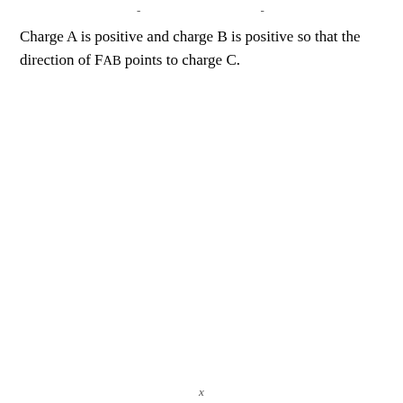- -
Charge A is positive and charge B is positive so that the direction of FAB points to charge C.
x